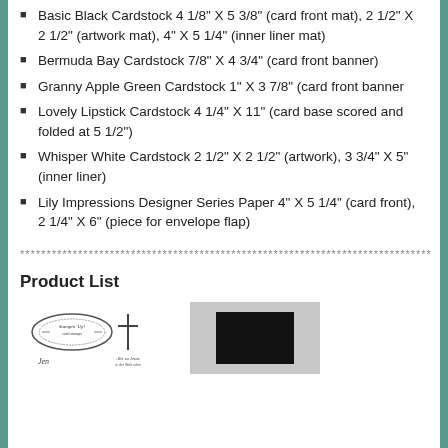Basic Black Cardstock 4 1/8" X 5 3/8" (card front mat), 2 1/2" X 2 1/2" (artwork mat), 4" X 5 1/4" (inner liner mat)
Bermuda Bay Cardstock 7/8" X 4 3/4" (card front banner)
Granny Apple Green Cardstock 1" X 3 7/8" (card front banner
Lovely Lipstick Cardstock 4 1/4" X 11" (card base scored and folded at 5 1/2")
Whisper White Cardstock 2 1/2" X 2 1/2" (artwork), 3 3/4" X 5" (inner liner)
Lily Impressions Designer Series Paper 4" X 5 1/4" (card front), 2 1/4" X 6" (piece for envelope flap)
******************************************************************************
Product List
[Figure (illustration): Two craft stamp product images: left shows decorative stamp designs with ornate text and cross motifs, right shows a gray-bordered product with a black center rectangle]